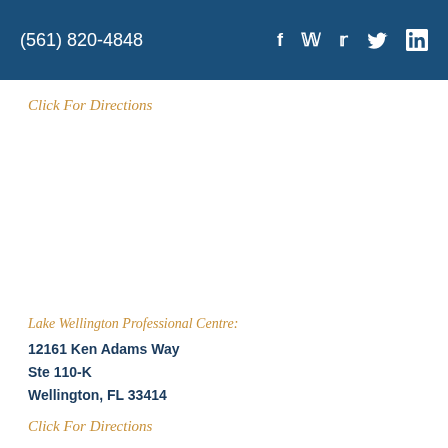(561) 820-4848
Click For Directions
Lake Wellington Professional Centre:
12161 Ken Adams Way
Ste 110-K
Wellington, FL 33414
Click For Directions